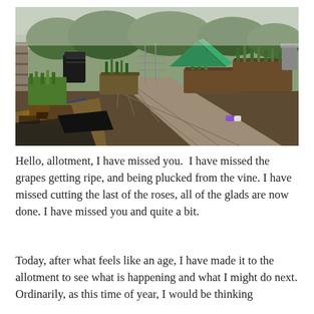[Figure (photo): An outdoor allotment garden showing raised vegetable beds, a stone/concrete path running through the centre, a black compost bin on the left, a green tarpaulin tent/cover in the background, various plants and trees, and debris/rubbish piled in the foreground left. The scene is overcast.]
Hello, allotment, I have missed you.  I have missed the grapes getting ripe, and being plucked from the vine. I have missed cutting the last of the roses, all of the glads are now done. I have missed you and quite a bit.
Today, after what feels like an age, I have made it to the allotment to see what is happening and what I might do next. Ordinarily, as this time of year, I would be thinking